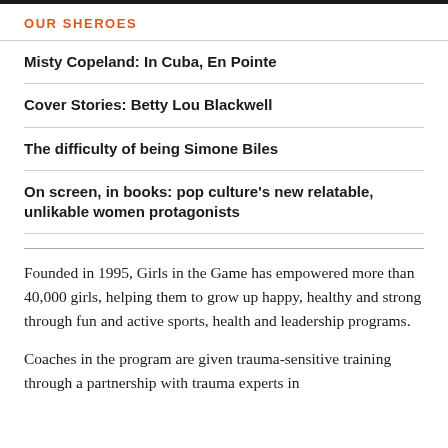OUR SHEROES
Misty Copeland: In Cuba, En Pointe
Cover Stories: Betty Lou Blackwell
The difficulty of being Simone Biles
On screen, in books: pop culture's new relatable, unlikable women protagonists
Founded in 1995, Girls in the Game has empowered more than 40,000 girls, helping them to grow up happy, healthy and strong through fun and active sports, health and leadership programs.
Coaches in the program are given trauma-sensitive training through a partnership with trauma experts in